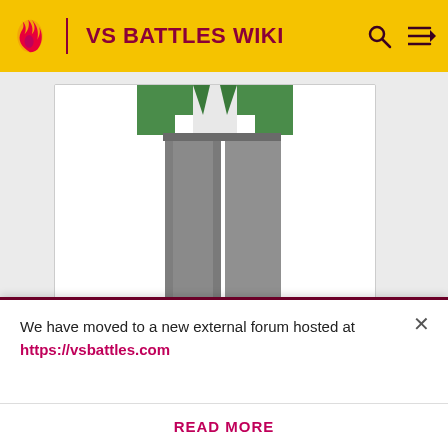VS BATTLES WIKI
[Figure (illustration): Anime-style character lower body showing grey pants, green jacket partially visible, and blue sneakers with white accents, standing on white background]
[Figure (illustration): Partially visible second character image panel showing feet/shoes at bottom of page]
We have moved to a new external forum hosted at https://vsbattles.com
READ MORE